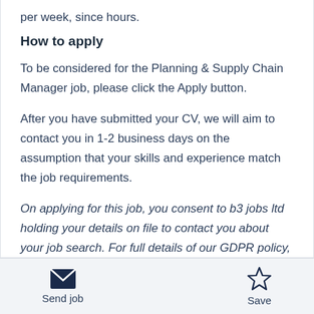per week, since hours.
How to apply
To be considered for the Planning & Supply Chain Manager job, please click the Apply button.
After you have submitted your CV, we will aim to contact you in 1-2 business days on the assumption that your skills and experience match the job requirements.
On applying for this job, you consent to b3 jobs ltd holding your details on file to contact you about your job search. For full details of our GDPR policy, please
Send job
Save